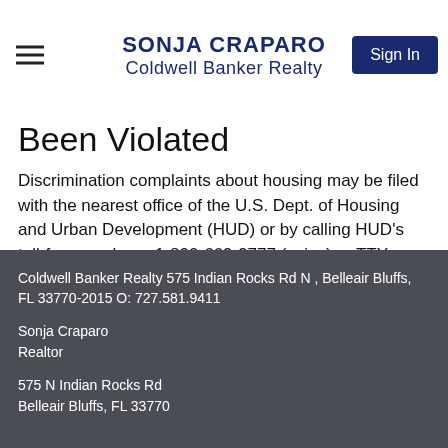SONJA CRAPARO
Coldwell Banker Realty
Been Violated
Discrimination complaints about housing may be filed with the nearest office of the U.S. Dept. of Housing and Urban Development (HUD) or by calling HUD's toll-free numbers, 1-800-669-9777 (voice) or TTY (800) 927-9275 contact HUD on the Internet at https://www.hud.gov/program_offices/fair_housing_equal_op complaint
Coldwell Banker Realty 575 Indian Rocks Rd N , Belleair Bluffs, FL 33770-2015 O: 727.581.9411
Sonja Craparo
Realtor
575 N Indian Rocks Rd
Belleair Bluffs, FL 33770